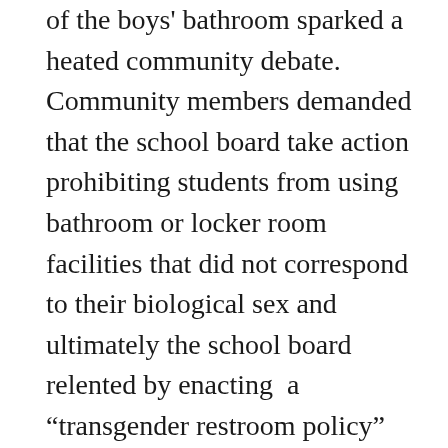of the boys' bathroom sparked a heated community debate. Community members demanded that the school board take action prohibiting students from using bathroom or locker room facilities that did not correspond to their biological sex and ultimately the school board relented by enacting a “transgender restroom policy” that bars transgender students within the district from using bathroom and locker room facilities at odds with their biological sex.  In response, G.G. sued.
G.G.’s suit against the school district seeks a court injunction allowing him immediate access to boys’ bathrooms at school. The